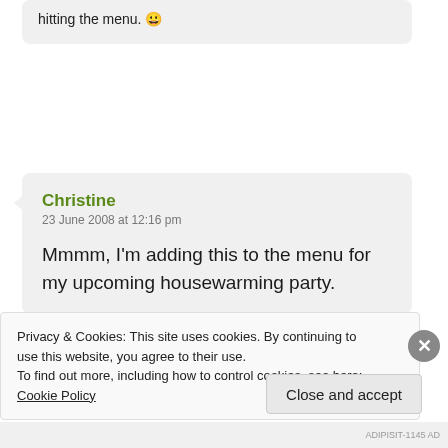hitting the menu. 😀
Christine
23 June 2008 at 12:16 pm

Mmmm, I'm adding this to the menu for my upcoming housewarming party.
Privacy & Cookies: This site uses cookies. By continuing to use this website, you agree to their use.
To find out more, including how to control cookies, see here: Cookie Policy
ADIPISIT-1145 AD